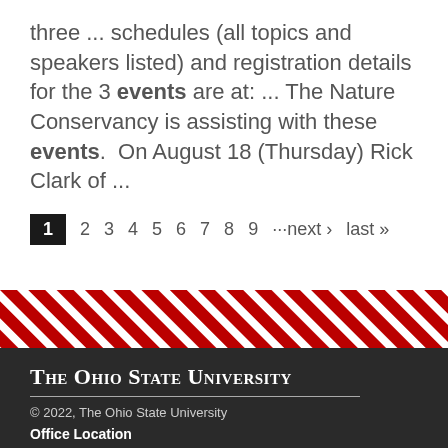three ... schedules (all topics and speakers listed) and registration details for the 3 events are at: ... The Nature Conservancy is assisting with these events. On August 18 (Thursday) Rick Clark of ...
1 2 3 4 5 6 7 8 9 ···next › last »
[Figure (other): Diagonal red and white stripe decorative bar]
The Ohio State University © 2022, The Ohio State University Office Location